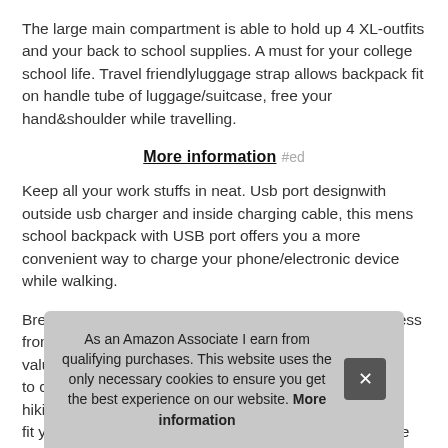The large main compartment is able to hold up 4 XL-outfits and your back to school supplies. A must for your college school life. Travel friendlyluggage strap allows backpack fit on handle tube of luggage/suitcase, free your hand&shoulder while travelling.
More information #ed
Keep all your work stuffs in neat. Usb port designwith outside usb charger and inside charging cable, this mens school backpack with USB port offers you a more convenient way to charge your phone/electronic device while walking.
Breathable mesh shoulder straps help to relieve the stress from ... valu... to c... hikin... fit your school accessories, wireless mouse and etc. The
As an Amazon Associate I earn from qualifying purchases. This website uses the only necessary cookies to ensure you get the best experience on our website. More information